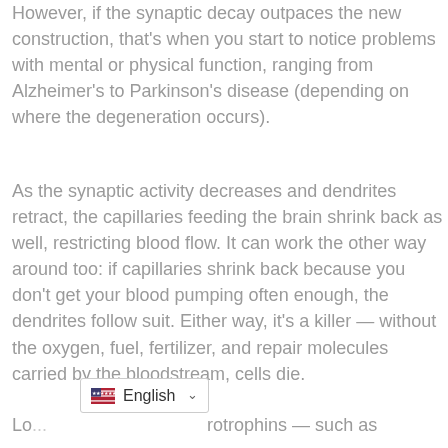However, if the synaptic decay outpaces the new construction, that's when you start to notice problems with mental or physical function, ranging from Alzheimer's to Parkinson's disease (depending on where the degeneration occurs).
As the synaptic activity decreases and dendrites retract, the capillaries feeding the brain shrink back as well, restricting blood flow. It can work the other way around too: if capillaries shrink back because you don't get your blood pumping often enough, the dendrites follow suit. Either way, it's a killer — without the oxygen, fuel, fertilizer, and repair molecules carried by the bloodstream, cells die.
Lo... ...rotrophins — such as